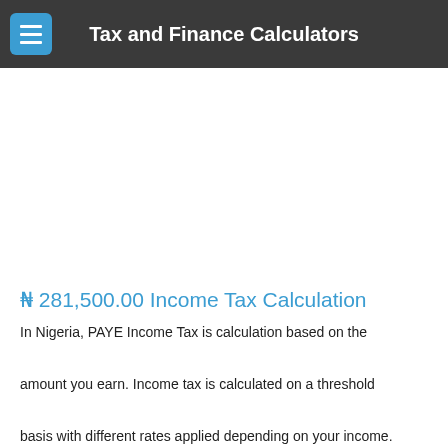Tax and Finance Calculators
₦ 281,500.00 Income Tax Calculation
In Nigeria, PAYE Income Tax is calculation based on the amount you earn. Income tax is calculated on a threshold basis with different rates applied depending on your income. The table below illustrates an income tax calculation for a ₦